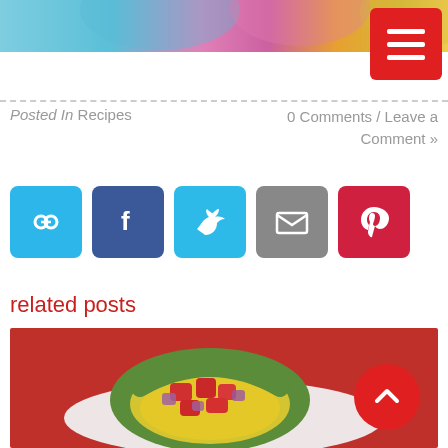[Figure (photo): Top portion of a photo showing women in colorful floral clothing (teal, pink, yellow patterns)]
Posted In Recipes	0 Comments / Leave a Comment »
[Figure (infographic): Row of five social sharing icon buttons: link/copy (blue), Facebook (dark blue), Twitter (light blue), Email (gray), Pinterest (red)]
related posts
[Figure (photo): Close-up food photo of an avocado half filled with yellow hummus or guacamole topped with diced red tomatoes and purple onions, on a white plate with red background]